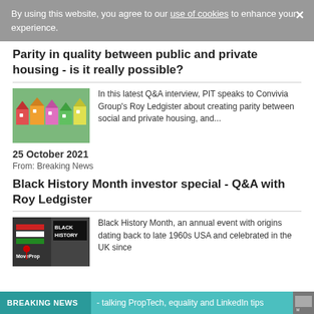By using this website, you agree to our use of cookies to enhance your experience.
Parity in quality between public and private housing - is it really possible?
[Figure (photo): Colourful toy houses in green, orange, pink, purple]
In this latest Q&A interview, PIT speaks to Convivia Group's Roy Ledgister about creating parity between social and private housing, and...
25 October 2021
From: Breaking News
Black History Month investor special - Q&A with Roy Ledgister
[Figure (photo): Black History Month graphic with text BLACK HISTORY, overlay of MoveProp logo]
Black History Month, an annual event with origins dating back to late 1960s USA and celebrated in the UK since
BREAKING NEWS - talking PropTech, equality and LinkedIn tips